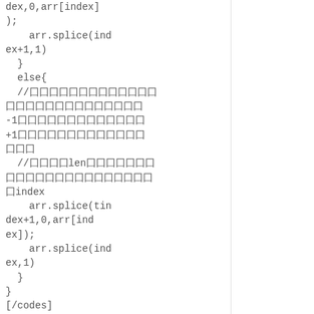dex,0,arr[index]);
    arr.splice(index+1,1)
  }
  else{
  //囗囗囗囗囗囗囗囗囗囗囗囗囗囗囗囗囗囗囗囗囗囗囗囗囗囗囗-1囗囗囗囗囗囗囗囗囗囗囗囗囗+1囗囗囗囗囗囗囗囗囗囗囗囗囗囗囗囗
  //囗囗囗囗len囗囗囗囗囗囗囗囗囗囗囗囗囗囗囗囗囗囗囗囗囗囗囗index
    arr.splice(tindex+1,0,arr[index]);
    arr.splice(index,1)
  }
}
[/codes]
index囗囗囗囗囗囗囗囗tindex囗囗囗囗囗囗囗囗囗from囗